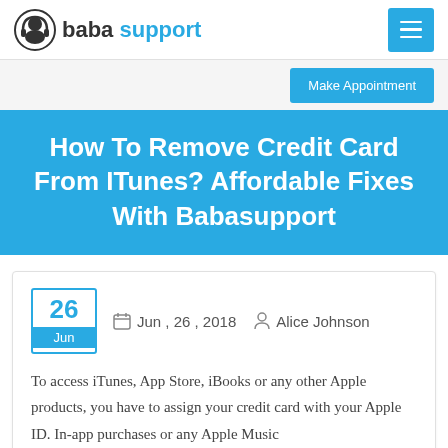baba support
Make Appointment
How To Remove Credit Card From ITunes? Affordable Fixes With Babasupport
Jun , 26 , 2018   Alice Johnson
To access iTunes, App Store, iBooks or any other Apple products, you have to assign your credit card with your Apple ID. In-app purchases or any Apple Music